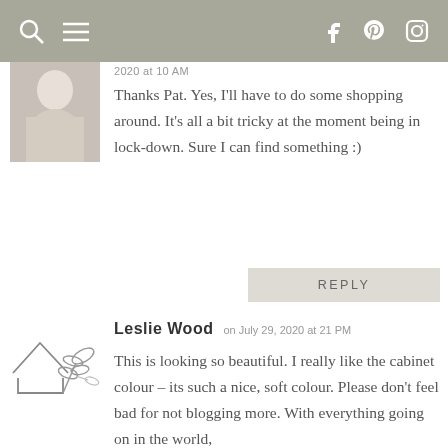Navigation bar with search, menu, Facebook, Pinterest, Instagram icons
2020 at 10 AM
Thanks Pat. Yes, I'll have to do some shopping around. It's all a bit tricky at the moment being in lock-down. Sure I can find something :)
REPLY
Leslie Wood on July 29, 2020 at 21 PM
This is looking so beautiful. I really like the cabinet colour – its such a nice, soft colour. Please don't feel bad for not blogging more. With everything going on in the world,